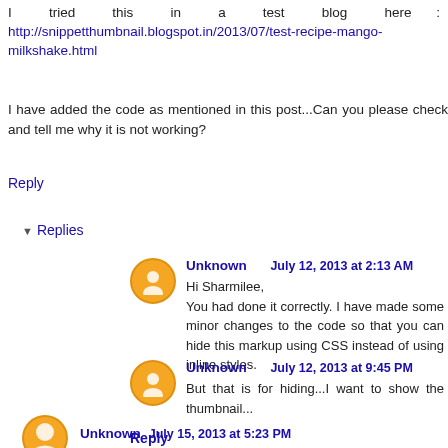I tried this in a test blog here : http://snippetthumbnail.blogspot.in/2013/07/test-recipe-mango-milkshake.html
I have added the code as mentioned in this post...Can you please check and tell me why it is not working?
Reply
▼ Replies
Unknown   July 12, 2013 at 2:13 AM
Hi Sharmilee,
You had done it correctly. I have made some minor changes to the code so that you can hide this markup using CSS instead of using inline styles.
Unknown  July 12, 2013 at 9:45 PM
But that is for hiding...I want to show the thumbnail...
Reply
Unknown  July 15, 2013 at 5:23 PM